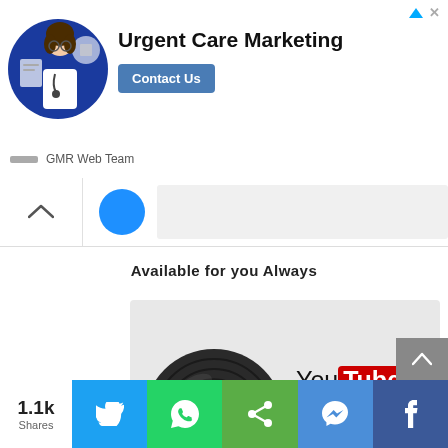[Figure (screenshot): Advertisement banner for Urgent Care Marketing by GMR Web Team, showing a doctor avatar, title text, and Contact Us button]
[Figure (screenshot): Collapsed card strip with chevron-up arrow, blue circle, and grey area]
Available for you Always
[Figure (screenshot): YouTube Music logo card with vinyl record graphic on grey background]
[Figure (infographic): Social share bar showing 1.1k Shares with Twitter, WhatsApp, Share, Messenger, and Facebook buttons]